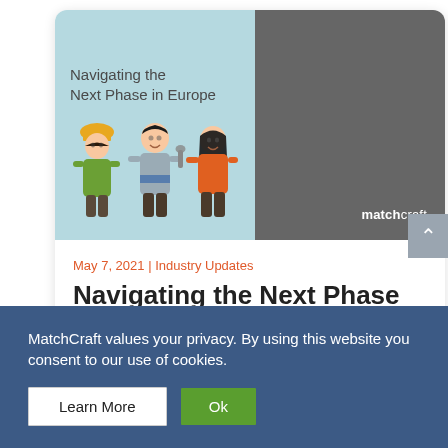[Figure (illustration): Book/report cover illustration split into two halves. Left half has light blue-green background with the text 'Navigating the Next Phase in Europe' and three illustrated cartoon characters: a person with a yellow hard hat in green jacket, a person in grey/blue striped outfit holding a wrench, and a person in an orange top with black hair. Right half is dark grey with 'matchcraft' logo in bottom right corner.]
May 7, 2021 | Industry Updates
Navigating the Next Phase in
MatchCraft values your privacy. By using this website you consent to our use of cookies.
Learn More
Ok